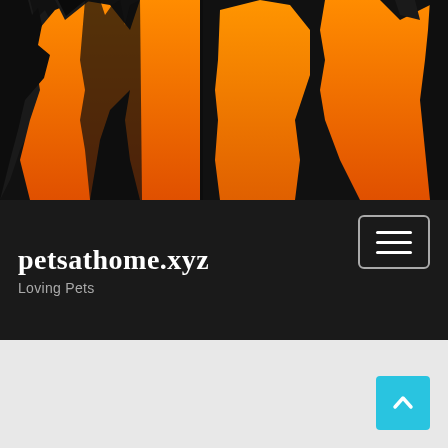[Figure (illustration): Website header banner with silhouettes of animals (cats/dogs) in orange gradient on dark/black background]
petsathome.xyz
Loving Pets
[Figure (other): Hamburger menu button - three horizontal white lines in a rounded rectangle border]
[Figure (other): Scroll to top button - cyan/light blue square with upward-pointing chevron/arrow]